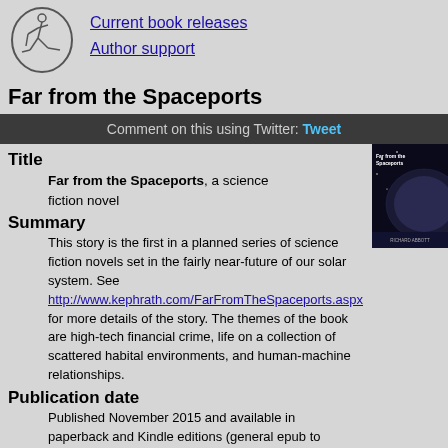[Figure (logo): Oval logo with a stick figure cross-country skiing]
Current book releases
Author support
Far from the Spaceports
Comment on this using Twitter: Tweet
[Figure (photo): Book cover of Far from the Spaceports showing a planet surface]
Title
Far from the Spaceports, a science fiction novel
Summary
This story is the first in a planned series of science fiction novels set in the fairly near-future of our solar system. See http://www.kephrath.com/FarFromTheSpaceports.aspx for more details of the story. The themes of the book are high-tech financial crime, life on a collection of scattered habital environments, and human-machine relationships.
Publication date
Published November 2015 and available in paperback and Kindle editions (general epub to follow).